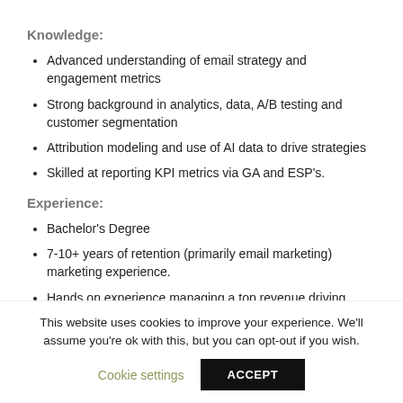Knowledge:
Advanced understanding of email strategy and engagement metrics
Strong background in analytics, data, A/B testing and customer segmentation
Attribution modeling and use of AI data to drive strategies
Skilled at reporting KPI metrics via GA and ESP's.
Experience:
Bachelor's Degree
7-10+ years of retention (primarily email marketing) marketing experience.
Hands on experience managing a top revenue driving
This website uses cookies to improve your experience. We'll assume you're ok with this, but you can opt-out if you wish.
Cookie settings   ACCEPT